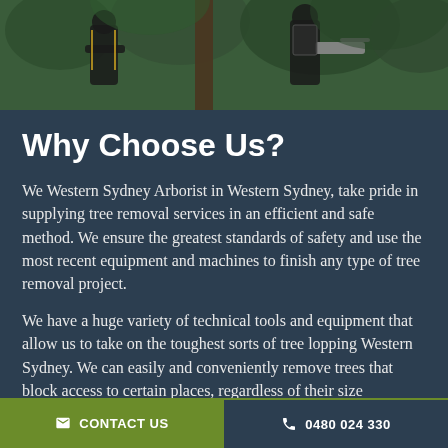[Figure (photo): Two arborists in black protective gear with chainsaws working among green trees]
Why Choose Us?
We Western Sydney Arborist in Western Sydney, take pride in supplying tree removal services in an efficient and safe method. We ensure the greatest standards of safety and use the most recent equipment and machines to finish any type of tree removal project.
We have a huge variety of technical tools and equipment that allow us to take on the toughest sorts of tree lopping Western Sydney. We can easily and conveniently remove trees that block access to certain places, regardless of their size
✉ CONTACT US   📞 0480 024 330